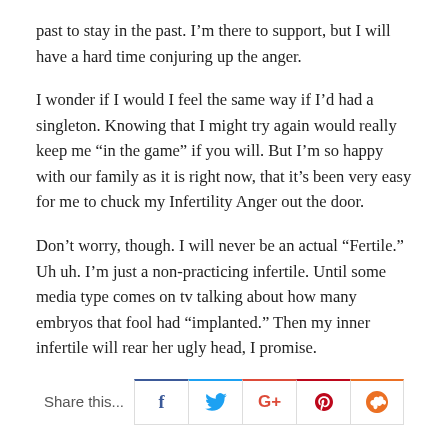past to stay in the past. I'm there to support, but I will have a hard time conjuring up the anger.
I wonder if I would I feel the same way if I'd had a singleton. Knowing that I might try again would really keep me “in the game” if you will. But I’m so happy with our family as it is right now, that it’s been very easy for me to chuck my Infertility Anger out the door.
Don’t worry, though. I will never be an actual “Fertile.” Uh uh. I’m just a non-practicing infertile. Until some media type comes on tv talking about how many embryos that fool had “implanted.” Then my inner infertile will rear her ugly head, I promise.
Share this...